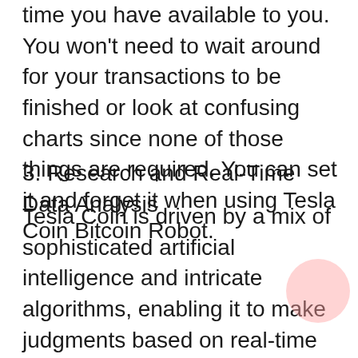time you have available to you. You won't need to wait around for your transactions to be finished or look at confusing charts since none of those things are required. You can set it and forget it when using Tesla Coin Bitcoin Robot.
3. Research and Real-Time Data Analysis
Tesla Coin is driven by a mix of sophisticated artificial intelligence and intricate algorithms, enabling it to make judgments based on real-time data analysis rather than relying on past patterns or other types of information that have become obsolete. When it comes to making financial choices with the aid of this software program, you can be confident that you will always obtain the most up-to-date information available